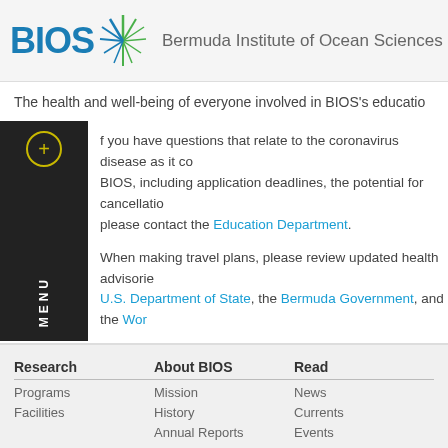BIOS — Bermuda Institute of Ocean Sciences
The health and well-being of everyone involved in BIOS's education programs…
If you have questions that relate to the coronavirus disease as it co… BIOS, including application deadlines, the potential for cancellation… please contact the Education Department.
When making travel plans, please review updated health advisories… U.S. Department of State, the Bermuda Government, and the World…
Research
Programs
Facilities
About BIOS
Mission
History
Annual Reports
Read
News
Currents
Events